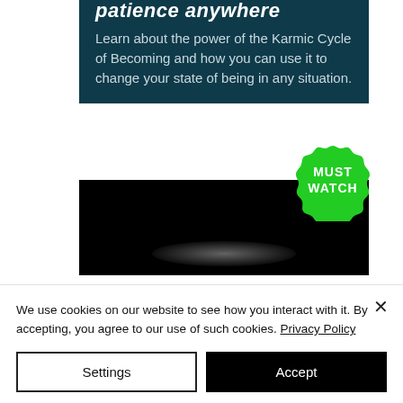patience anywhere
Learn about the power of the Karmic Cycle of Becoming and how you can use it to change your state of being in any situation.
[Figure (illustration): Green badge/seal with text MUST WATCH in bold white capital letters]
[Figure (screenshot): A dark/black video player thumbnail area with a blurred light smudge at the bottom center]
We use cookies on our website to see how you interact with it. By accepting, you agree to our use of such cookies. Privacy Policy
Settings
Accept